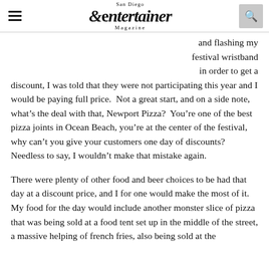San Diego Entertainer Magazine
and flashing my festival wristband in order to get a discount, I was told that they were not participating this year and I would be paying full price.  Not a great start, and on a side note, what’s the deal with that, Newport Pizza?  You’re one of the best pizza joints in Ocean Beach, you’re at the center of the festival, why can’t you give your customers one day of discounts?  Needless to say, I wouldn’t make that mistake again.
There were plenty of other food and beer choices to be had that day at a discount price, and I for one would make the most of it.  My food for the day would include another monster slice of pizza that was being sold at a food tent set up in the middle of the street, a massive helping of french fries, also being sold at the